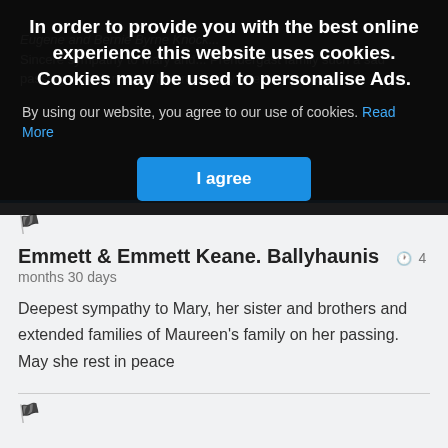In order to provide you with the best online experience this website uses cookies. Cookies may be used to personalise Ads.
By using our website, you agree to our use of cookies. Read More
I agree
Eugene and Bernie Byrne Knock... Sincere sympathy to Mary and... Prendergast family such a sad passing of their mother Maureen may she rest in peace
Emmett & Emmett Keane. Ballyhaunis
4 months 30 days
Deepest sympathy to Mary, her sister and brothers and extended families of Maureen's family on her passing. May she rest in peace